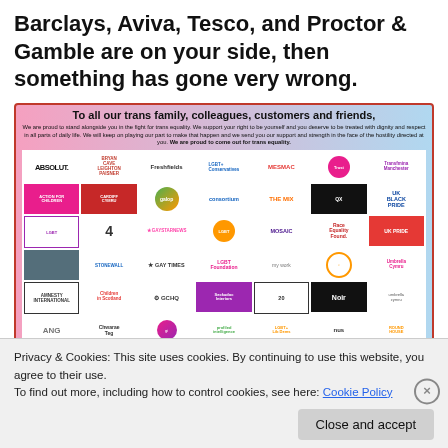Barclays, Aviva, Tesco, and Proctor & Gamble are on your side, then something has gone very wrong.
[Figure (infographic): Advertisement banner reading 'To all our trans family, colleagues, customers and friends,' with logos of many organizations supporting trans equality including Absolut, Freshfields, LGBT Foundation, GCHQ, NUS, UNISON, and many others.]
Privacy & Cookies: This site uses cookies. By continuing to use this website, you agree to their use.
To find out more, including how to control cookies, see here: Cookie Policy